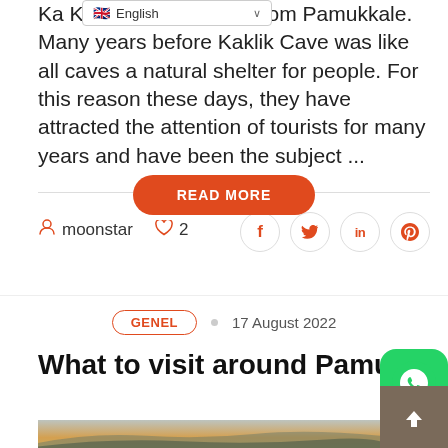English (language selector dropdown)
Ka... Kaklik Town, 30 km from Pamukkale. Many years before Kaklik Cave was like all caves a natural shelter for people. For this reason these days, they have attracted the attention of tourists for many years and have been the subject ...
READ MORE
moonstar  ♡ 2
GENEL  •  17 August 2022
What to visit around Pamukka...
[Figure (photo): Landscape panorama photo showing hills/mountains against a hazy sky with warm sunset tones]